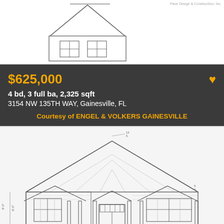[Figure (illustration): Top portion of architectural elevation drawing of a single-story house blueprint showing roof and windows]
$625,000
4 bd, 3 full ba, 2,325 sqft
3154 NW 135TH WAY, Gainesville, FL
Courtesy of ENGEL & VOLKERS GAINESVILLE
[Figure (engineering-diagram): Architectural front elevation blueprint drawing of a single-story house with hip roof, garage/rooms on left, central entry with columns, windows, and dimensional annotations]